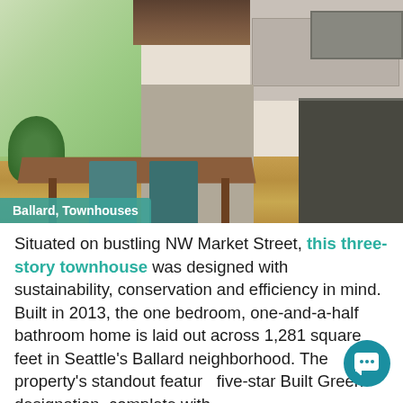[Figure (photo): Interior photo of a modern kitchen and dining area with wood dining table, teal chairs, bamboo/wood flooring, gray kitchen cabinets, stainless steel appliances, and large windows with greenery outside. A label badge reading 'Ballard, Townhouses' is overlaid in the bottom-left corner of the image.]
Situated on bustling NW Market Street, this three-story townhouse was designed with sustainability, conservation and efficiency in mind. Built in 2013, the one bedroom, one-and-a-half bathroom home is laid out across 1,281 square feet in Seattle's Ballard neighborhood. The property's standout feature is its five-star Built Green designation, complete with